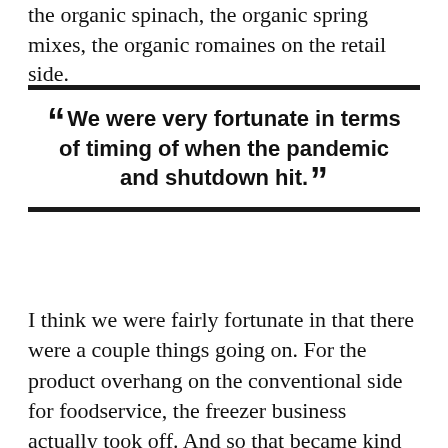the organic spinach, the organic spring mixes, the organic romaines on the retail side.
“We were very fortunate in terms of timing of when the pandemic and shutdown hit.”
I think we were fairly fortunate in that there were a couple things going on. For the product overhang on the conventional side for foodservice, the freezer business actually took off. And so that became kind of a logical new selling channel for us as people were stocking up. The commodities at foodservice we were able to move some of that to commodity on the retail sides. We were able to shift selling